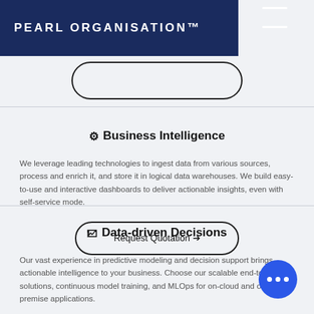PEARL ORGANISATION™
⚙ Business Intelligence
We leverage leading technologies to ingest data from various sources, process and enrich it, and store it in logical data warehouses. We build easy-to-use and interactive dashboards to deliver actionable insights, even with self-service mode.
Request Quotation →
🗠 Data-driven Decisions
Our vast experience in predictive modeling and decision support brings actionable intelligence to your business. Choose our scalable end-to-end solutions, continuous model training, and MLOps for on-cloud and on-premise applications.
Request Quotation →